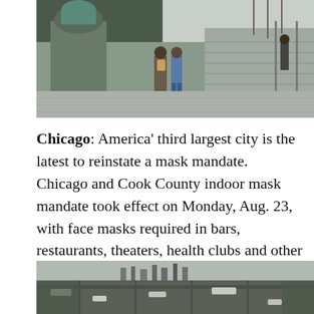[Figure (photo): Street-level photo of people walking near large stone sculptures and steps of a public building in Chicago]
Chicago: America' third largest city is the latest to reinstate a mask mandate. Chicago and Cook County indoor mask mandate took effect on Monday, Aug. 23, with face masks required in bars, restaurants, theaters, health clubs and other indoor spaces, vaccinated or not.
[Figure (photo): Aerial view of Chicago cityscape showing urban sprawl and buildings from above]